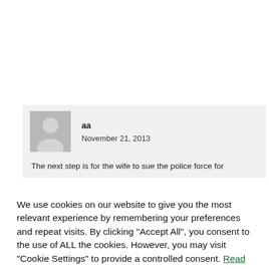aa
November 21, 2013
The next step is for the wife to sue the police force for
We use cookies on our website to give you the most relevant experience by remembering your preferences and repeat visits. By clicking "Accept All", you consent to the use of ALL the cookies. However, you may visit "Cookie Settings" to provide a controlled consent. Read More
Cookie Settings
Accept All